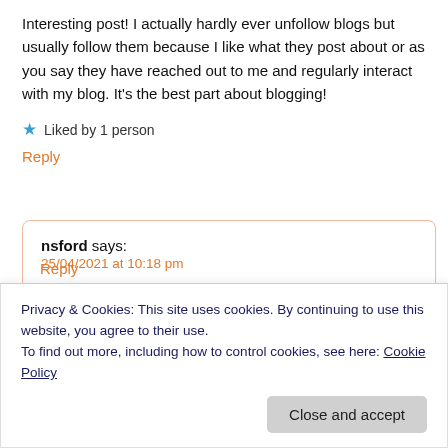Interesting post! I actually hardly ever unfollow blogs but usually follow them because I like what they post about or as you say they have reached out to me and regularly interact with my blog. It's the best part about blogging!
★ Liked by 1 person
Reply
nsford says:
25/04/2021 at 10:18 pm
Thanks! 🙂 I agree the interactivity is the best thing, for
Reply
Privacy & Cookies: This site uses cookies. By continuing to use this website, you agree to their use.
To find out more, including how to control cookies, see here: Cookie Policy
Close and accept